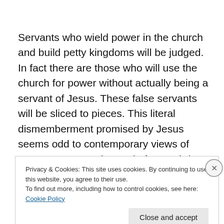Servants who wield power in the church and build petty kingdoms will be judged.  In fact there are those who will use the church for power without actually being a servant of Jesus.  These false servants will be sliced to pieces.  This literal dismemberment promised by Jesus seems odd to contemporary views of Jesus.  However, the God of grace brings relief to the righteous but also brings just punishment to the wicked.  In our permissive society we
Privacy & Cookies: This site uses cookies. By continuing to use this website, you agree to their use.
To find out more, including how to control cookies, see here: Cookie Policy
Close and accept